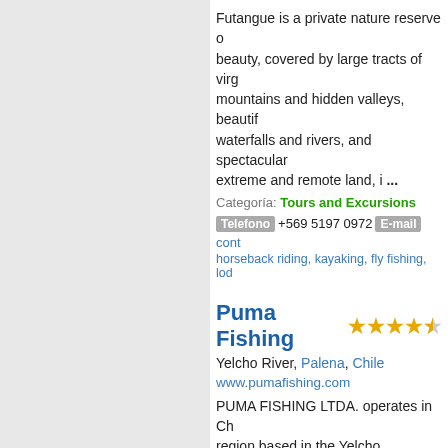Futangue is a private nature reserve of extraordinary beauty, covered by large tracts of virgin forest, mountains and hidden valleys, beautiful waterfalls and rivers, and spectacular ... extreme and remote land, i ...
Categoría: Tours and Excursions
Telefono +569 5197 0972  E-mail cont... horseback riding, kayaking, fly fishing, lod...
Puma Fishing
Yelcho River, Palena, Chile
www.pumafishing.com
PUMA FISHING LTDA. operates in Ch... region based in the Yelcho watershed... many anglers and fish biologists to be... Rainbows and Browns in all of the Pa...
Categoría: Hotels and Lodging
Telefono (1 954) 922-5389  E-mail fish... con mosca, Lago Yelcho, fly fishing lodge
Posada Puelo Lodge
Rio Puelo, Chile